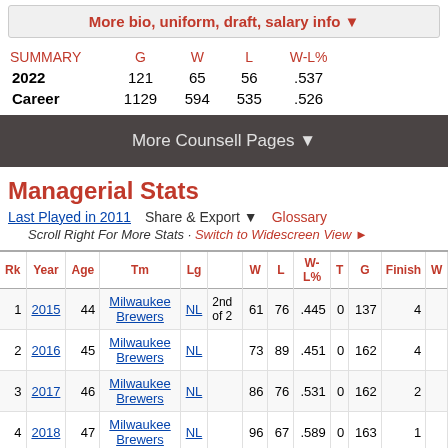More bio, uniform, draft, salary info ▼
| SUMMARY | G | W | L | W-L% |
| --- | --- | --- | --- | --- |
| 2022 | 121 | 65 | 56 | .537 |
| Career | 1129 | 594 | 535 | .526 |
More Counsell Pages ▼
Managerial Stats
Last Played in 2011   Share & Export ▼   Glossary
Scroll Right For More Stats · Switch to Widescreen View ►
| Rk | Year | Age | Tm | Lg |  | W | L | W-L% | T | G | Finish | W |
| --- | --- | --- | --- | --- | --- | --- | --- | --- | --- | --- | --- | --- |
| 1 | 2015 | 44 | Milwaukee Brewers | NL | 2nd of 2 | 61 | 76 | .445 | 0 | 137 | 4 |  |
| 2 | 2016 | 45 | Milwaukee Brewers | NL |  | 73 | 89 | .451 | 0 | 162 | 4 |  |
| 3 | 2017 | 46 | Milwaukee Brewers | NL |  | 86 | 76 | .531 | 0 | 162 | 2 |  |
| 4 | 2018 | 47 | Milwaukee Brewers | NL |  | 96 | 67 | .589 | 0 | 163 | 1 |  |